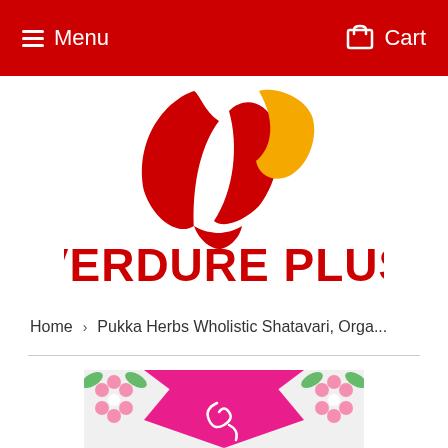Menu  Cart
[Figure (logo): Verdure Plus logo with red leaf and yellow leaf graphic above bold red text 'VERDURE PLUS']
Home › Pukka Herbs Wholistic Shatavari, Orga...
[Figure (photo): Top portion of a Pukka Herbs product box with pink background and green/pink floral design]